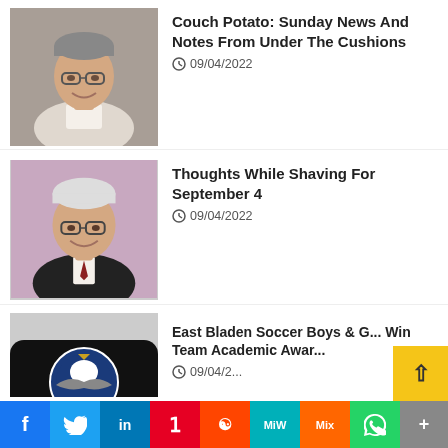[Figure (photo): Headshot of older man with glasses, gray hair, wearing light-colored shirt]
Couch Potato: Sunday News And Notes From Under The Cushions
09/04/2022
[Figure (photo): Headshot of older man with glasses, white hair, wearing dark suit and tie, pink/purple background]
Thoughts While Shaving For September 4
09/04/2022
[Figure (logo): Eagles team logo on black rounded rectangle background]
East Bladen Soccer Boys & G... Win Team Academic Awar...
09/04/2...